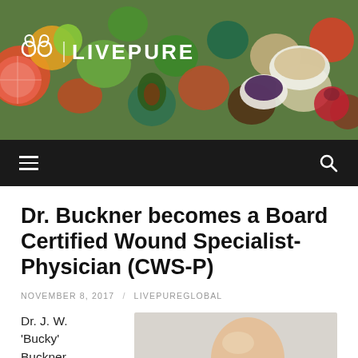[Figure (photo): LivePure website header banner with colorful bowls of fruits, vegetables, nuts, and superfoods, with the LivePure logo (white leaf/sprout icon and LIVEPURE text) overlaid.]
[Figure (screenshot): Dark navigation bar with hamburger menu icon on left and search icon on right.]
Dr. Buckner becomes a Board Certified Wound Specialist-Physician (CWS-P)
NOVEMBER 8, 2017 / LIVEPUREGLOBAL
Dr. J. W. 'Bucky' Buckner, MD, FACS
[Figure (photo): Portrait photo of Dr. J.W. 'Bucky' Buckner, a smiling bald man in professional attire against a light background.]